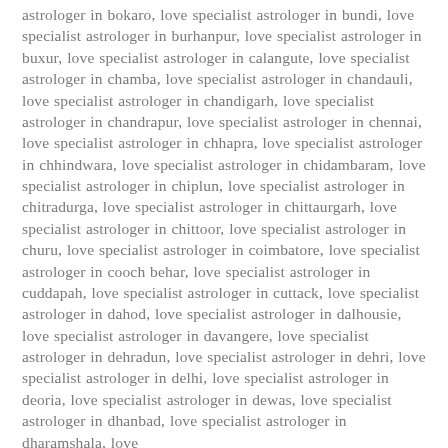astrologer in bokaro, love specialist astrologer in bundi, love specialist astrologer in burhanpur, love specialist astrologer in buxur, love specialist astrologer in calangute, love specialist astrologer in chamba, love specialist astrologer in chandauli, love specialist astrologer in chandigarh, love specialist astrologer in chandrapur, love specialist astrologer in chennai, love specialist astrologer in chhapra, love specialist astrologer in chhindwara, love specialist astrologer in chidambaram, love specialist astrologer in chiplun, love specialist astrologer in chitradurga, love specialist astrologer in chittaurgarh, love specialist astrologer in chittoor, love specialist astrologer in churu, love specialist astrologer in coimbatore, love specialist astrologer in cooch behar, love specialist astrologer in cuddapah, love specialist astrologer in cuttack, love specialist astrologer in dahod, love specialist astrologer in dalhousie, love specialist astrologer in davangere, love specialist astrologer in dehradun, love specialist astrologer in dehri, love specialist astrologer in delhi, love specialist astrologer in deoria, love specialist astrologer in dewas, love specialist astrologer in dhanbad, love specialist astrologer in dharamshala, love